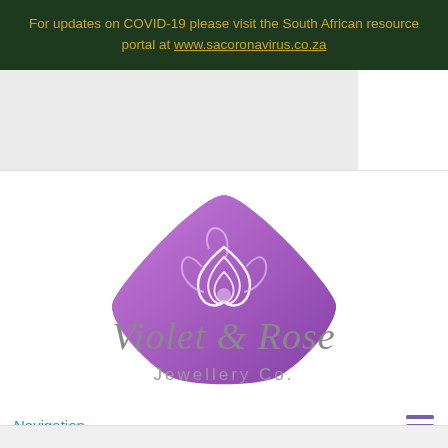For updates on COVID-19 please visit the South African resource portal at www.sacoronavirus.co.za
[Figure (logo): Violet & Rose Jewellery Co. logo — a purple triangular rose emblem above stylized cursive text reading 'Violet & Rose' and beneath that 'Jewellery Co.' in a lighter serif font]
Navigation